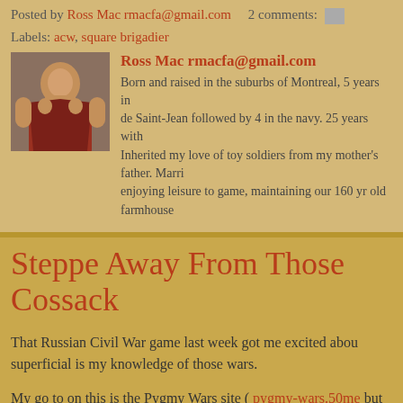Posted by Ross Mac rmacfa@gmail.com    2 comments:
Labels: acw, square brigadier
Ross Mac rmacfa@gmail.com
Born and raised in the suburbs of Montreal, 5 years in de Saint-Jean followed by 4 in the navy. 25 years with Inherited my love of toy soldiers from my mother's father. Marri enjoying leisure to game, maintaining our 160 yr old farmhouse
Steppe Away From Those Cossack
That Russian Civil War game last week got me excited abou superficial is my knowledge of those wars.
My go to on this is the Pygmy Wars site ( pygmy-wars.50me but also some excellent presentations dealing with both hist
I also broke open a box of Strelitz, hoping that they had dev